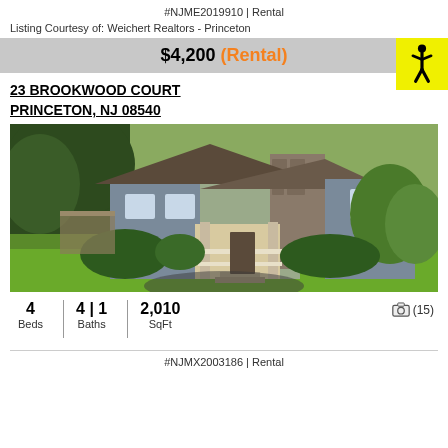#NJME2019910 | Rental
Listing Courtesy of: Weichert Realtors - Princeton
$4,200 (Rental)
23 BROOKWOOD COURT PRINCETON, NJ 08540
[Figure (photo): Exterior photo of a residential property at 23 Brookwood Court, Princeton NJ showing a two-story home with stone facade, covered front porch, and lush green trees and landscaping in summer.]
4 Beds  |  4 | 1 Baths  |  2,010 SqFt  📷 (15)
#NJMX2003186 | Rental